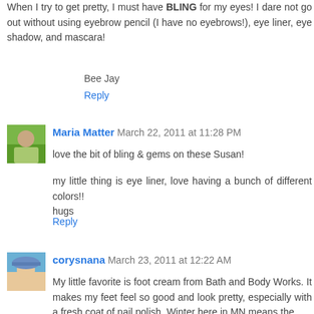When I try to get pretty, I must have BLING for my eyes! I dare not go out without using eyebrow pencil (I have no eyebrows!), eye liner, eye shadow, and mascara!
Bee Jay
Reply
Maria Matter March 22, 2011 at 11:28 PM
love the bit of bling & gems on these Susan!
my little thing is eye liner, love having a bunch of different colors!!
hugs
Reply
corysnana March 23, 2011 at 12:22 AM
My little favorite is foot cream from Bath and Body Works. It makes my feet feel so good and look pretty, especially with a fresh coat of nail polish. Winter here in MN means the